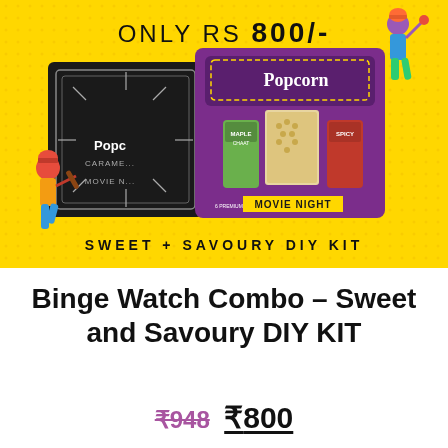[Figure (photo): Product promotional banner with yellow background showing two popcorn kit boxes - a black caramel movie night box and a purple Popcorn Movie Night DIY Kit box with spice bottles and popcorn kernels visible. Text reads 'ONLY RS 800/-' at top and 'SWEET + SAVOURY DIY KIT' at bottom. Two cartoon cricket player illustrations on left and right sides.]
Binge Watch Combo – Sweet and Savoury DIY KIT
₹948 ₹800